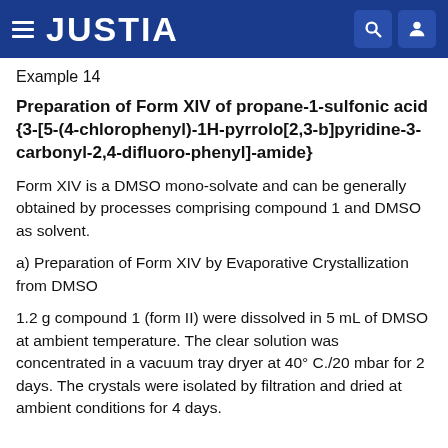JUSTIA
Example 14
Preparation of Form XIV of propane-1-sulfonic acid {3-[5-(4-chlorophenyl)-1H-pyrrolo[2,3-b]pyridine-3-carbonyl-2,4-difluoro-phenyl]-amide}
Form XIV is a DMSO mono-solvate and can be generally obtained by processes comprising compound 1 and DMSO as solvent.
a) Preparation of Form XIV by Evaporative Crystallization from DMSO
1.2 g compound 1 (form II) were dissolved in 5 mL of DMSO at ambient temperature. The clear solution was concentrated in a vacuum tray dryer at 40° C./20 mbar for 2 days. The crystals were isolated by filtration and dried at ambient conditions for 4 days.